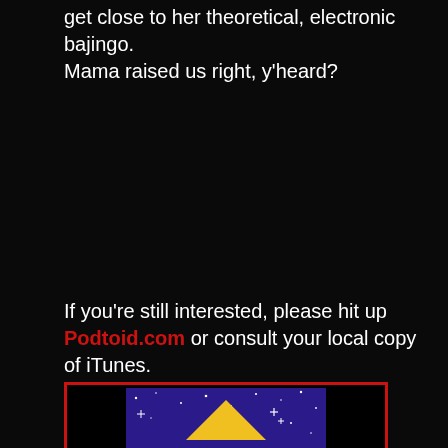get close to her theoretical, electronic bajingo. Mama raised us right, y'heard?
If you're still interested, please hit up Podtoid.com or consult your local copy of iTunes.
[Figure (illustration): A triangular/pyramid shape in yellow on a purple/blue starry background, inside a red-bordered box]